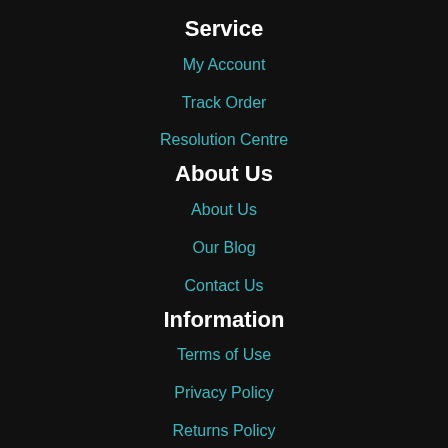Service
My Account
Track Order
Resolution Centre
About Us
About Us
Our Blog
Contact Us
Information
Terms of Use
Privacy Policy
Returns Policy